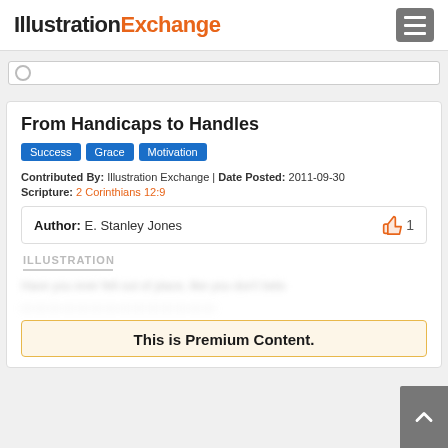IllustrationExchange
From Handicaps to Handles
Success
Grace
Motivation
Contributed By: Illustration Exchange | Date Posted: 2011-09-30
Scripture: 2 Corinthians 12:9
Author: E. Stanley Jones
ILLUSTRATION
Have you ever felt out of place, like you don't belo...
This is Premium Content.